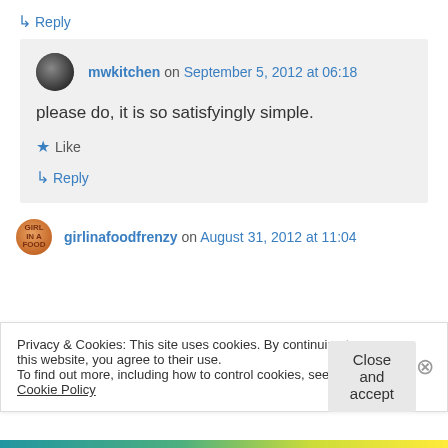↳ Reply
mwkitchen on September 5, 2012 at 06:18
please do, it is so satisfyingly simple.
★ Like
↳ Reply
girlinafoodfrenzy on August 31, 2012 at 11:04
Privacy & Cookies: This site uses cookies. By continuing to use this website, you agree to their use. To find out more, including how to control cookies, see here: Cookie Policy
Close and accept